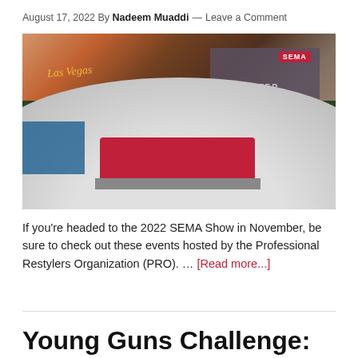August 17, 2022 By Nadeem Muaddi — Leave a Comment
[Figure (photo): SEMA Show 3D logo in foreground with Las Vegas Convention Center building and trees in background at dusk]
If you're headed to the 2022 SEMA Show in November, be sure to check out these events hosted by the Professional Restylers Organization (PRO). … [Read more...]
Young Guns Challenge: